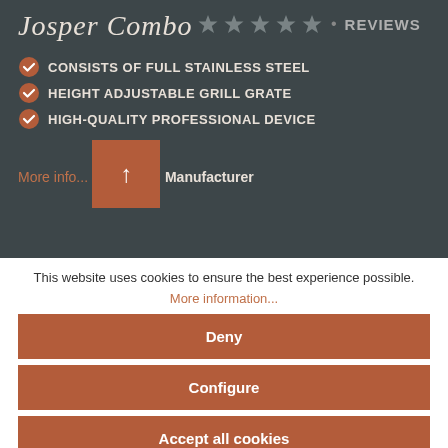Josper Combo
[Figure (other): Five grey star rating icons followed by a bullet and the word REVIEWS in grey]
CONSISTS OF FULL STAINLESS STEEL
HEIGHT ADJUSTABLE GRILL GRATE
HIGH-QUALITY PROFESSIONAL DEVICE
More info...
[Figure (other): An orange/brown square button with a white upward arrow icon]
Manufacturer
This website uses cookies to ensure the best experience possible.
More information...
Deny
Configure
Accept all cookies